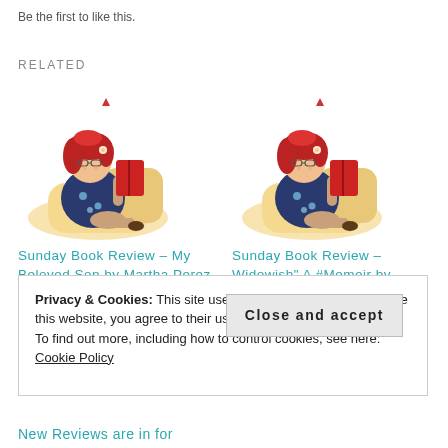Be the first to like this.
RELATED
[Figure (illustration): Cartoon illustration of a red-haired woman sitting on a cushion reading a red book, left card]
Sunday Book Review – My Beloved Son by Martha Perez – #Memoir
July 24, 2022
[Figure (illustration): Cartoon illustration of a red-haired woman sitting on a cushion reading a red book, right card]
Sunday Book Review – Widowish" A #Memoir by Melissa Gould
January 9, 2022
In "Cycle of life"
Privacy & Cookies: This site uses cookies. By continuing to use this website, you agree to their use.
To find out more, including how to control cookies, see here: Cookie Policy
Close and accept
New Reviews are in for